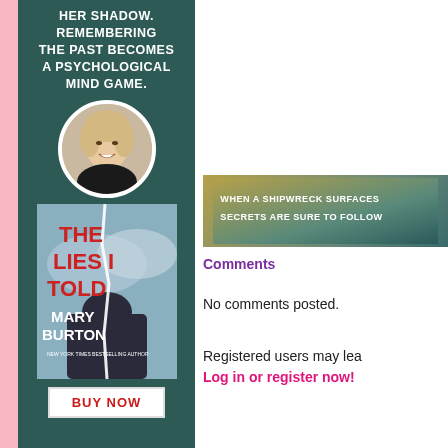HER SHADOW. REMEMBERING THE PAST BECOMES A PSYCHOLOGICAL MIND GAME.
[Figure (photo): Circular headshot of a blonde woman (author Mary Burton) smiling, with white circular border]
[Figure (photo): Book cover of 'The Lies I Told' by Mary Burton, showing a torn image with cloudy sky, NY Times Bestselling Author tagline]
BUY NOW
[Figure (photo): Banner image with text: WHEN A SHIPWRECK SURFACES SECRETS ARE SURE TO FOLLOW]
Comments
No comments posted.
Registered users may lea Log in or register now!